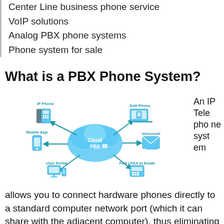Center Line business phone service
VoIP solutions
Analog PBX phone systems
Phone system for sale
What is a PBX Phone System?
[Figure (infographic): Cloud PBX diagram showing connections between IP Phone, Mobile App, User Portal, Soft Phone, Voicemail, FAX/FAX to Email and a central Cloud PBX node with arrows.]
An IP Telephone system allows you to connect hardware phones directly to a standard computer network port (which it can share with the adjacent computer), thus eliminating the need for wiring. Software phones can be installed